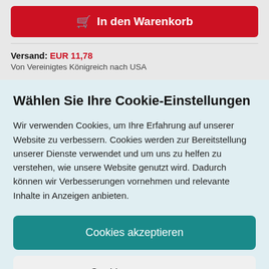In den Warenkorb
Versand: EUR 11,78
Von Vereinigtes Königreich nach USA
Wählen Sie Ihre Cookie-Einstellungen
Wir verwenden Cookies, um Ihre Erfahrung auf unserer Website zu verbessern. Cookies werden zur Bereitstellung unserer Dienste verwendet und um uns zu helfen zu verstehen, wie unsere Website genutzt wird. Dadurch können wir Verbesserungen vornehmen und relevante Inhalte in Anzeigen anbieten.
Cookies akzeptieren
Cookies anpassen